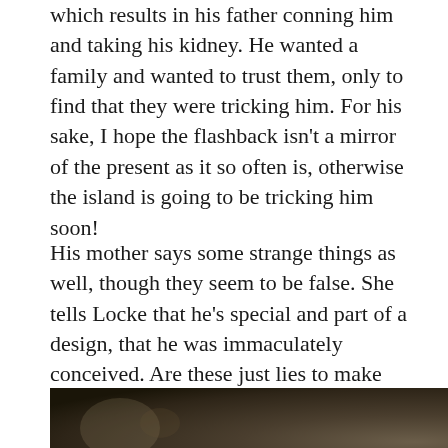which results in his father conning him and taking his kidney. He wanted a family and wanted to trust them, only to find that they were tricking him. For his sake, I hope the flashback isn't a mirror of the present as it so often is, otherwise the island is going to be tricking him soon!
His mother says some strange things as well, though they seem to be false. She tells Locke that he's special and part of a design, that he was immaculately conceived. Are these just lies to make him think she's crazy? Or is there more about Locke's past that is similar to Walt's special abilities?
[Figure (photo): A dark photograph showing a stone or rock surface, partially visible at the bottom of the page, with what appears to be a hand or fingers visible.]